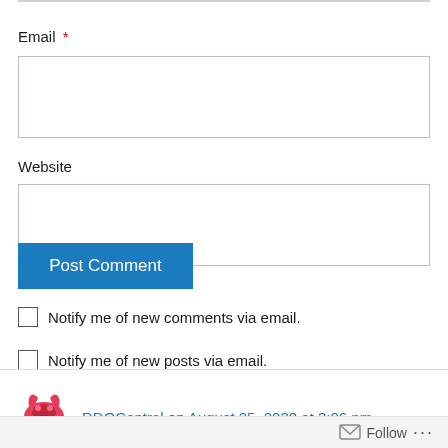Email *
(email input field)
Website
(website input field)
Post Comment
Notify me of new comments via email.
Notify me of new posts via email.
[Figure (illustration): Red crab/scorpion logo avatar icon]
DDOCentral on August 25, 2020 at 3:06 pm
Follow ...